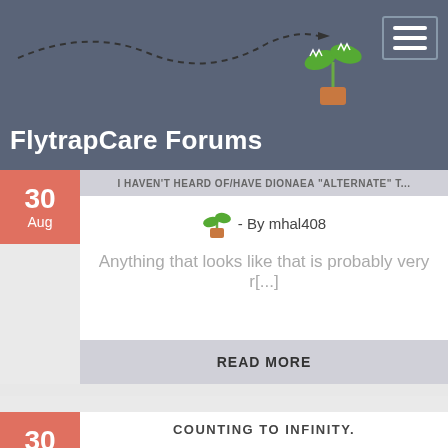FlytrapCare Forums
30 Aug - By mhal408 - Anything that looks like that is probably very r[...]
READ MORE
COUNTING TO INFINITY.
30 Aug - By mhal408 - 1901 if we count to large enough number would it[...]
READ MORE